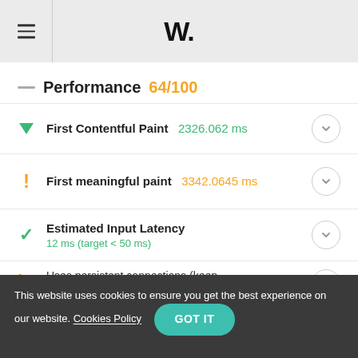W.
Performance  64/100
First Contentful Paint  2326.062 ms
First meaningful paint  3342.0645 ms
Estimated Input Latency  12 ms (target < 50 ms)
Uses persistent connections (keep-alive)
This website uses cookies to ensure you get the best experience on our website. Cookies Policy  GOT IT